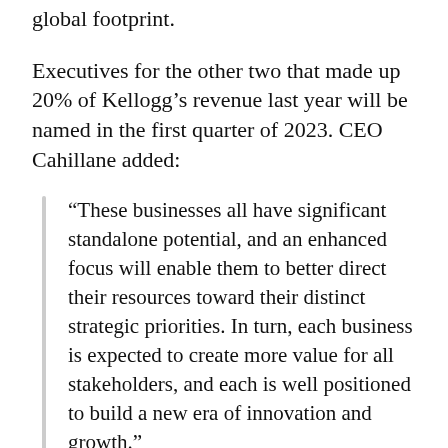global footprint.
Executives for the other two that made up 20% of Kellogg’s revenue last year will be named in the first quarter of 2023. CEO Cahillane added:
“These businesses all have significant standalone potential, and an enhanced focus will enable them to better direct their resources toward their distinct strategic priorities. In turn, each business is expected to create more value for all stakeholders, and each is well positioned to build a new era of innovation and growth.”